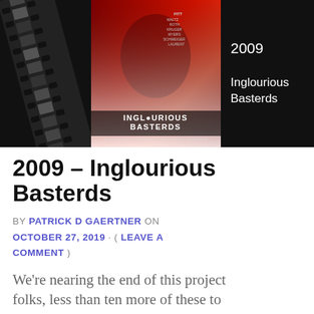[Figure (photo): Banner image with three sections: a film strip on the left, the Inglourious Basterds movie poster in the center, and a black panel on the right showing '2009' and 'Inglourious Basterds' in white text.]
2009 – Inglourious Basterds
BY PATRICK D GAERTNER ON OCTOBER 27, 2019 · ( LEAVE A COMMENT )
We're nearing the end of this project folks, less than ten more of these to